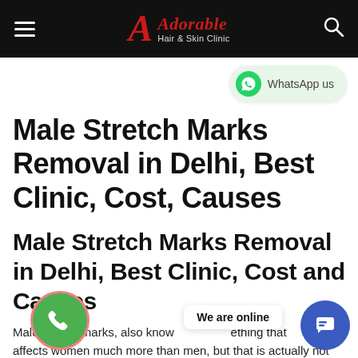Adorable Hair & Skin Clinic
[Figure (other): WhatsApp us button with green WhatsApp icon]
Male Stretch Marks Removal in Delhi, Best Clinic, Cost, Causes
Male Stretch Marks Removal in Delhi, Best Clinic, Cost and Causes
Male stretch marks, also know... something that affects women much more than men, but that is actually not